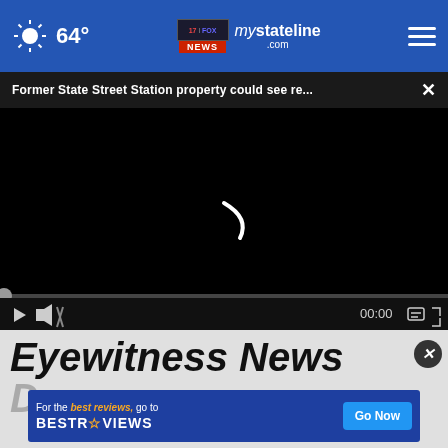64° mystateline.com
Former State Street Station property could see re... ×
[Figure (screenshot): Black video player with loading spinner, progress bar, and playback controls showing 00:00]
Eyewitness News
D
[Figure (screenshot): Advertisement banner: For the best reviews, go to BESTREVIEWS with Go Now button]